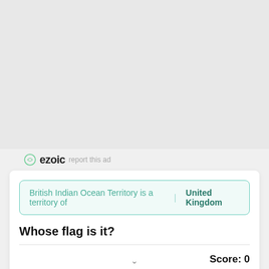[Figure (other): Gray advertisement placeholder area (ezoic ad)]
ezoic   report this ad
British Indian Ocean Territory is a territory of | United Kingdom
Whose flag is it?
Score: 0